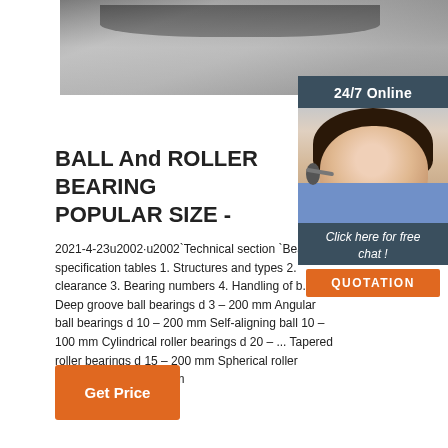[Figure (photo): Photo of industrial machinery/surface at top of page]
[Figure (photo): Customer service representative with headset, 24/7 Online sidebar with click here for free chat and QUOTATION button]
BALL And ROLLER BEARING POPULAR SIZE -
2021-4-23u2002·u2002`Technical section `Bearing specification tables 1. Structures and types 2. clearance 3. Bearing numbers 4. Handling of b... Deep groove ball bearings d 3 – 200 mm Angular ball bearings d 10 – 200 mm Self-aligning ball 10 – 100 mm Cylindrical roller bearings d 20 – ... Tapered roller bearings d 15 – 200 mm Spherical roller bearings d 25 – 300 mm
Get Price